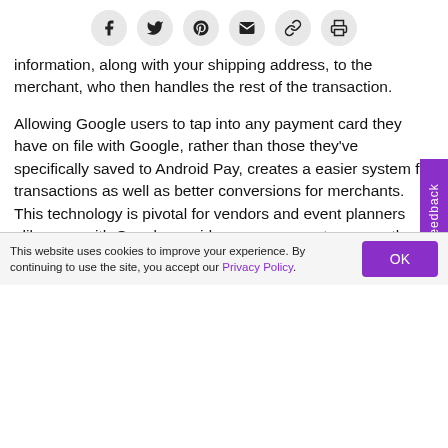[Figure (other): Social share bar with icons: Facebook, Twitter, Pinterest, Email, Link, Print]
information, along with your shipping address, to the merchant, who then handles the rest of the transaction.
Allowing Google users to tap into any payment card they have on file with Google, rather than those they've specifically saved to Android Pay, creates a easier system for transactions as well as better conversions for merchants. This technology is pivotal for vendors and event planners alike; pay with Google provides an easy way to pay on the road, in your hotel or on the plane.
This website uses cookies to improve your experience. By continuing to use the site, you accept our Privacy Policy.